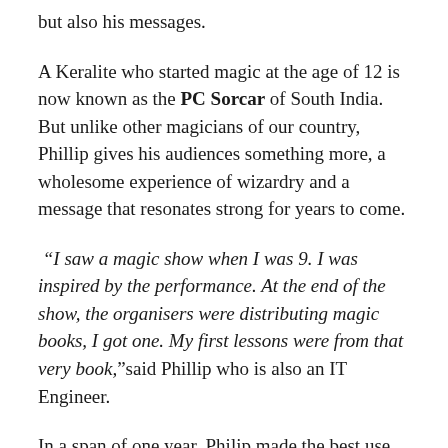but also his messages.
A Keralite who started magic at the age of 12 is now known as the PC Sorcar of South India. But unlike other magicians of our country, Phillip gives his audiences something more, a wholesome experience of wizardry and a message that resonates strong for years to come.
“I saw a magic show when I was 9. I was inspired by the performance. At the end of the show, the organisers were distributing magic books, I got one. My first lessons were from that very book,” said Phillip who is also an IT Engineer.
In a span of one year, Philip made the best use of his book and learned the tricks. But he was yet to perform in front of an audience.